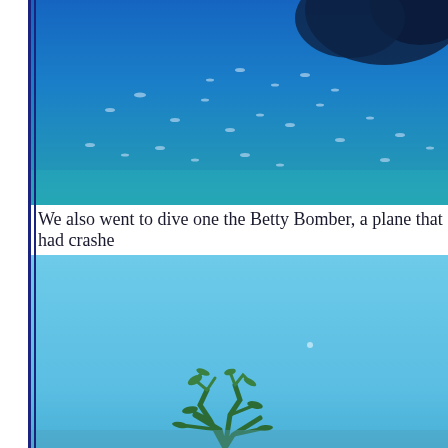[Figure (photo): Underwater photo showing deep blue ocean water with small fish visible and dark coral or reef structure visible at top right corner]
We also went to dive one the Betty Bomber, a plane that had crashe
[Figure (photo): Underwater photo showing clear light blue water with what appears to be coral or marine growth visible at the bottom of the frame]